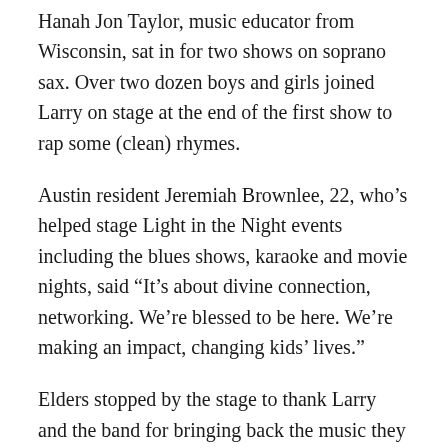Hanah Jon Taylor, music educator from Wisconsin, sat in for two shows on soprano sax. Over two dozen boys and girls joined Larry on stage at the end of the first show to rap some (clean) rhymes.
Austin resident Jeremiah Brownlee, 22, who’s helped stage Light in the Night events including the blues shows, karaoke and movie nights, said “It’s about divine connection, networking. We’re blessed to be here. We’re making an impact, changing kids’ lives.”
Elders stopped by the stage to thank Larry and the band for bringing back the music they heard growing up in Mississippi juke joints or in the Chicago clubs of the mid-20th century  As African Americans flowed into